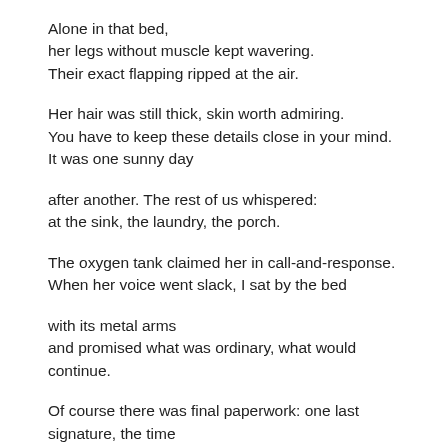Alone in that bed,
her legs without muscle kept wavering.
Their exact flapping ripped at the air.

Her hair was still thick, skin worth admiring.
You have to keep these details close in your mind.
It was one sunny day

after another. The rest of us whispered:
at the sink, the laundry, the porch.

The oxygen tank claimed her in call-and-response.
When her voice went slack, I sat by the bed

with its metal arms
and promised what was ordinary, what would continue.

Of course there was final paperwork: one last signature, the time
of pronouncement at the center of morning.

After the sinews and tendons released against